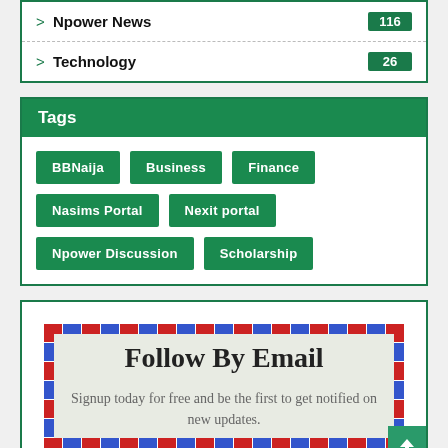Npower News 116
Technology 26
Tags
BBNaija
Business
Finance
Nasims Portal
Nexit portal
Npower Discussion
Scholarship
Follow By Email
Signup today for free and be the first to get notified on new updates.